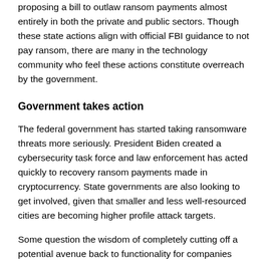proposing a bill to outlaw ransom payments almost entirely in both the private and public sectors.  Though these state actions align with official FBI guidance to not pay ransom, there are many in the technology community who feel these actions constitute overreach by the government.
Government takes action
The federal government has started taking ransomware threats more seriously.  President Biden created a cybersecurity task force and law enforcement has acted quickly to recovery ransom payments made in cryptocurrency.  State governments are also looking to get involved,  given that smaller and less well-resourced cities are becoming higher profile attack targets.
Some question the wisdom of completely cutting off a potential avenue back to functionality for companies